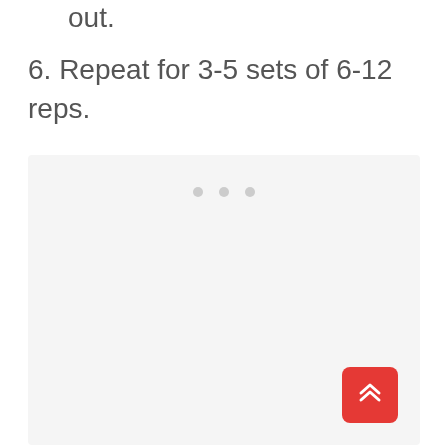out.
6. Repeat for 3-5 sets of 6-12 reps.
[Figure (other): Light gray placeholder image box with three light gray dots at the top center, indicating a loading or empty image carousel. A red rounded square button with a double upward chevron (scroll-to-top) is positioned at the bottom right corner of the box.]